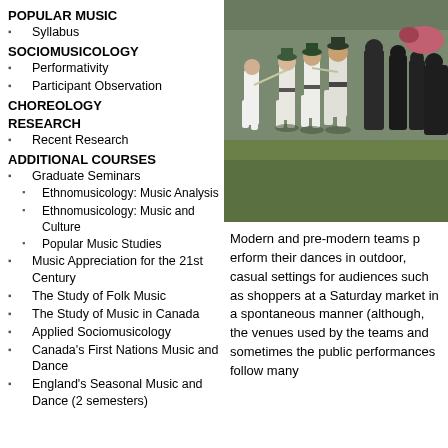POPULAR MUSIC
Syllabus
SOCIOMUSICOLOGY
Performativity
Participant Observation
CHOREOLOGY
RESEARCH
Recent Research
ADDITIONAL COURSES
Graduate Seminars
Ethnomusicology: Music Analysis
Ethnomusicology: Music and Culture
Popular Music Studies
Music Appreciation for the 21st Century
The Study of Folk Music
The Study of Music in Canada
Applied Sociomusicology
Canada's First Nations Music and Dance
England's Seasonal Music and Dance (2 semesters)
[Figure (photo): People in white traditional folk dance costumes performing Morris dance outdoors on grass, with spectators in background]
Modern and pre-modern teams perform their dances in outdoor, casual settings for audiences such as shoppers at a Saturday market in a spontaneous manner (although, the venues used by the teams and sometimes the public performances follow many